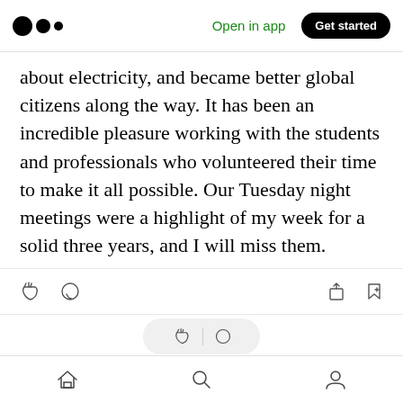Medium app header with logo, Open in app, Get started
about electricity, and became better global citizens along the way. It has been an incredible pleasure working with the students and professionals who volunteered their time to make it all possible. Our Tuesday night meetings were a highlight of my week for a solid three years, and I will miss them.
[Figure (screenshot): Medium article action bar with clap, comment, share, and bookmark icons]
[Figure (screenshot): Bottom navigation bar with home, search, and profile icons]